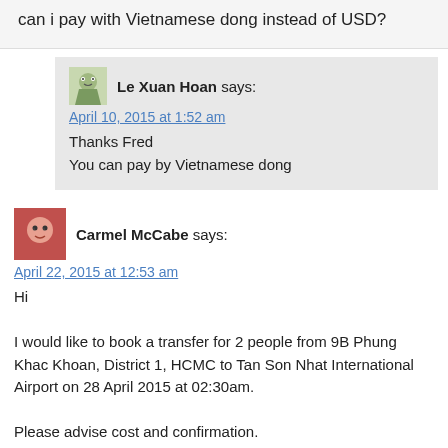can i pay with Vietnamese dong instead of USD?
Le Xuan Hoan says:
April 10, 2015 at 1:52 am
Thanks Fred
You can pay by Vietnamese dong
Carmel McCabe says:
April 22, 2015 at 12:53 am
Hi

I would like to book a transfer for 2 people from 9B Phung Khac Khoan, District 1, HCMC to Tan Son Nhat International Airport on 28 April 2015 at 02:30am.

Please advise cost and confirmation.

Thanks.